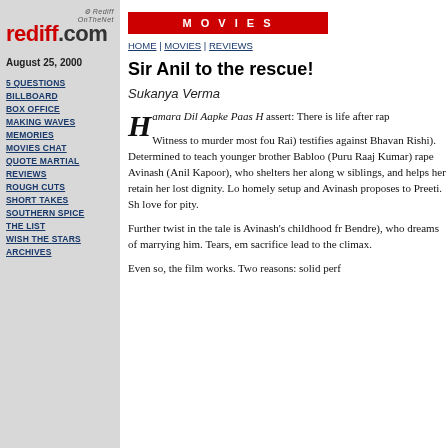rediff.com
August 25, 2000
5 QUESTIONS
BILLBOARD
BOX OFFICE
MAKING WAVES
MEMORIES
MOVIES CHAT
QUOTE MARTIAL
REVIEWS
ROUGH CUTS
SHORT TAKES
SOUTHERN SPICE
THE LIST
WISH THE STARS
ARCHIVES
MOVIES
HOME | MOVIES | REVIEWS
Sir Anil to the rescue!
Sukanya Verma
Hamara Dil Aapke Paas H assert: There is life after rap Witness to murder most fou Rai) testifies against Bhavan Rishi). Determined to teach younger brother Babloo (Puru Raaj Kumar) rape Avinash (Anil Kapoor), who shelters her along w siblings, and helps her retain her lost dignity. Lo homely setup and Avinash proposes to Preeti. Sh love for pity.
Further twist in the tale is Avinash's childhood fr Bendre), who dreams of marrying him. Tears, em sacrifice lead to the climax.
Even so, the film works. Two reasons: solid perf